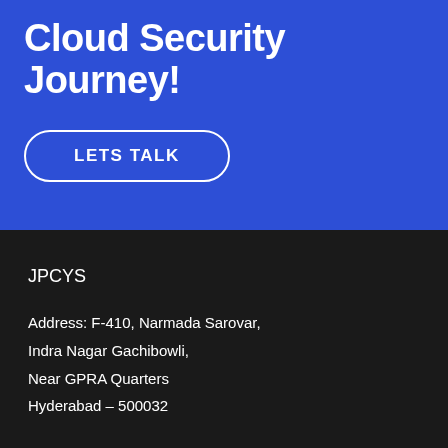Cloud Security Journey!
LETS TALK
JPCYS
Address: F-410, Narmada Sarovar, Indra Nagar Gachibowli, Near GPRA Quarters Hyderabad – 500032